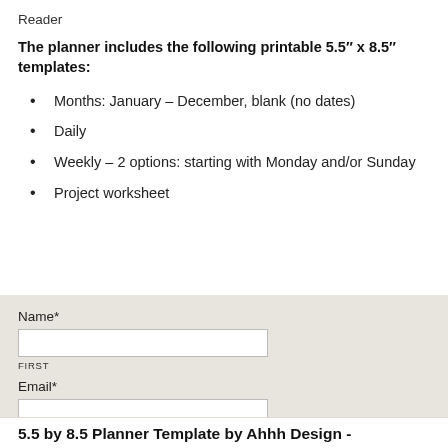Reader
The planner includes the following printable 5.5" x 8.5" templates:
Months: January – December, blank (no dates)
Daily
Weekly – 2 options: starting with Monday and/or Sunday
Project worksheet
Name*
FIRST
Email*
5.5 by 8.5 Planner Template by Ahhh Design -